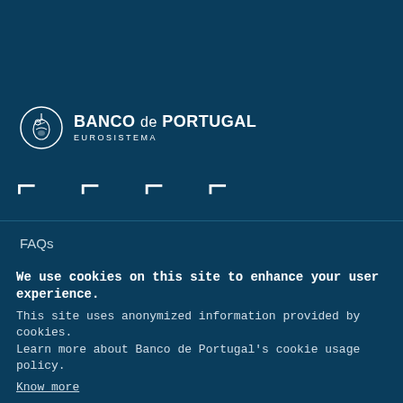[Figure (logo): Banco de Portugal Eurosistema logo with circular emblem and text]
[Figure (illustration): Four bracket/icon symbols in a row]
FAQs
Glossary
Sitemap
We use cookies on this site to enhance your user experience. This site uses anonymized information provided by cookies. Learn more about Banco de Portugal's cookie usage policy. Know more